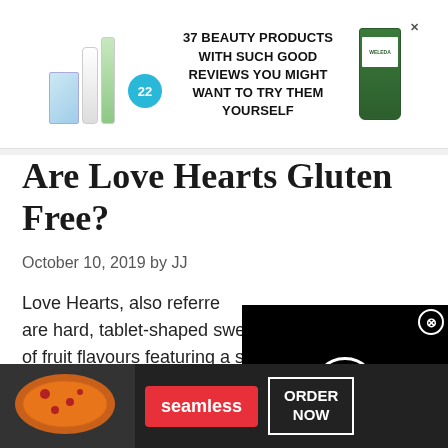[Figure (infographic): Advertisement banner showing beauty products (Cetaphil, Cerave tubes) and Weleda green tube, with badge showing 22, and bold text '37 BEAUTY PRODUCTS WITH SUCH GOOD REVIEWS YOU MIGHT WANT TO TRY THEM YOURSELF']
Are Love Hearts Gluten Free?
October 10, 2019 by JJ
Love Hearts, also referred [to as Swizzels,] are hard, tablet-shaped sweets in a variety of fruit flavours featuring a short, love-related message. They manufactured and dist[ributed across...] cont[inued...]
[Figure (screenshot): Black video player overlay with white circle loading spinner and X close button]
[Figure (infographic): Seamless food delivery advertisement with pizza image, red 'seamless' button, 'ORDER NOW' white bordered button, and CLOSE button]